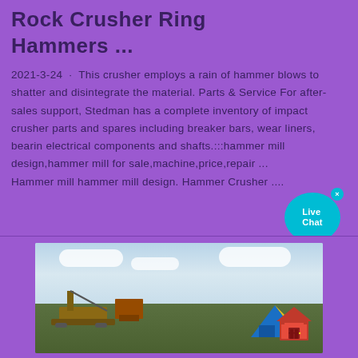Rock Crusher Ring Hammers ...
2021-3-24 · This crusher employs a rain of hammer blows to shatter and disintegrate the material. Parts & Service For after-sales support, Stedman has a complete inventory of impact crusher parts and spares including breaker bars, wear liners, bearings, electrical components and shafts.:::hammer mill design,hammer mill for sale,machine,price,repair ... Hammer mill hammer mill design. Hammer Crusher ....
[Figure (photo): Outdoor photo of mining or construction machinery including a large crane or excavator arm against a partly cloudy sky, with green vegetation in the background and colorful structures (blue and yellow tent/tarp) in the lower right.]